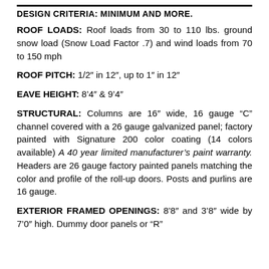DESIGN CRITERIA: MINIMUM AND MORE.
ROOF LOADS: Roof loads from 30 to 110 lbs. ground snow load (Snow Load Factor .7) and wind loads from 70 to 150 mph
ROOF PITCH: 1/2″ in 12″, up to 1″ in 12″
EAVE HEIGHT: 8'4″ & 9'4″
STRUCTURAL: Columns are 16″ wide, 16 gauge "C" channel covered with a 26 gauge galvanized panel; factory painted with Signature 200 color coating (14 colors available) A 40 year limited manufacturer's paint warranty. Headers are 26 gauge factory painted panels matching the color and profile of the roll-up doors. Posts and purlins are 16 gauge.
EXTERIOR FRAMED OPENINGS: 8'8″ and 3'8″ wide by 7'0″ high. Dummy door panels or "R"